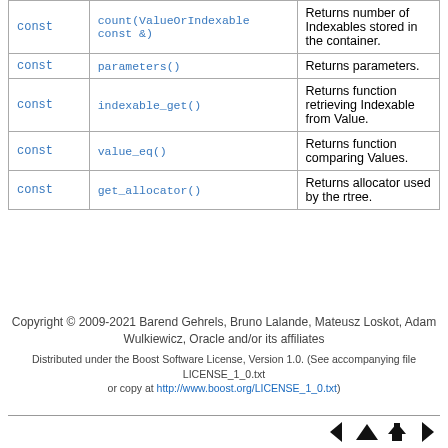|  |  |  |
| --- | --- | --- |
| const | count(ValueOrIndexable const &) | Returns number of Indexables stored in the container. |
| const | parameters() | Returns parameters. |
| const | indexable_get() | Returns function retrieving Indexable from Value. |
| const | value_eq() | Returns function comparing Values. |
| const | get_allocator() | Returns allocator used by the rtree. |
Copyright © 2009-2021 Barend Gehrels, Bruno Lalande, Mateusz Loskot, Adam Wulkiewicz, Oracle and/or its affiliates
Distributed under the Boost Software License, Version 1.0. (See accompanying file LICENSE_1_0.txt or copy at http://www.boost.org/LICENSE_1_0.txt)